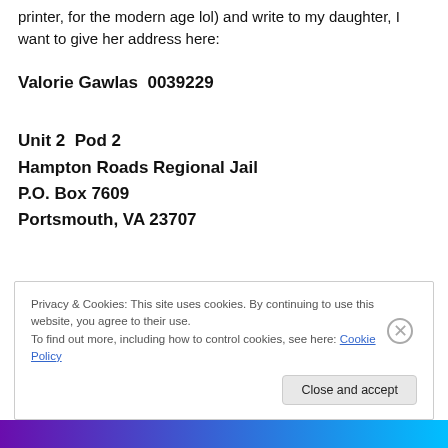printer, for the modern age lol) and write to my daughter, I want to give her address here:
Valorie Gawlas  0039229
Unit 2  Pod 2
Hampton Roads Regional Jail
P.O. Box 7609
Portsmouth, VA 23707
Privacy & Cookies: This site uses cookies. By continuing to use this website, you agree to their use.
To find out more, including how to control cookies, see here: Cookie Policy
Close and accept